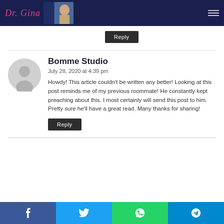Dr. Gina site header with logo and navigation
Reply
Bomme Studio
July 28, 2020 at 4:39 pm
Howdy! This article couldn't be written any better! Looking at this post reminds me of my previous roommate! He constantly kept preaching about this. I most certainly will send this post to him. Pretty sure he'll have a great read. Many thanks for sharing!
Reply